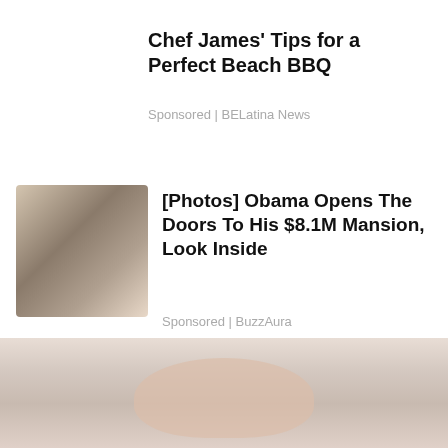Chef James’ Tips for a Perfect Beach BBQ
Sponsored | BELatina News
[Figure (photo): Family photo of people smiling together, used as thumbnail for sponsored article about Obama mansion]
[Photos] Obama Opens The Doors To His $8.1M Mansion, Look Inside
Sponsored | BuzzAura
[Figure (photo): Close-up photo of a person's feet on a bed, used as thumbnail for a sponsored article]